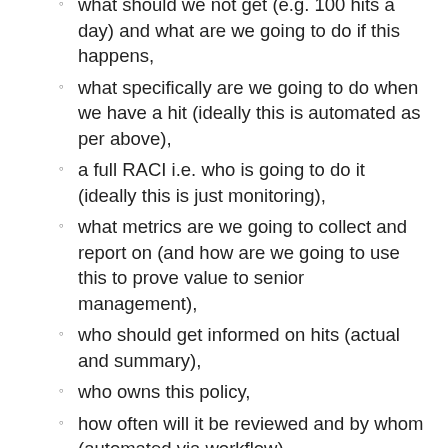what should we not get (e.g. 100 hits a day) and what are we going to do if this happens,
what specifically are we going to do when we have a hit (ideally this is automated as per above),
a full RACI i.e. who is going to do it (ideally this is just monitoring),
what metrics are we going to collect and report on (and how are we going to use this to prove value to senior management),
who should get informed on hits (actual and summary),
who owns this policy,
how often will it be reviewed and by whom (automated via workflow),
what is the source data and all its attributes (what systems, what interfaces, how often updated, how do